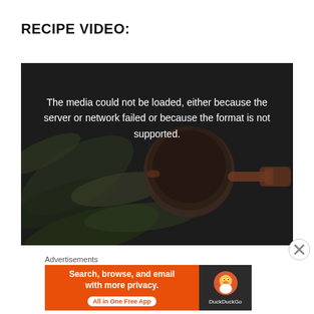RECIPE VIDEO:
[Figure (screenshot): Video player showing an error message: 'The media could not be loaded, either because the server or network failed or because the format is not supported.' Dark background with blurred food/cooking imagery.]
Advertisements
[Figure (screenshot): DuckDuckGo advertisement banner with orange background. Text: 'Search, browse, and email with more privacy. All in One Free App' with DuckDuckGo duck logo on dark right panel.]